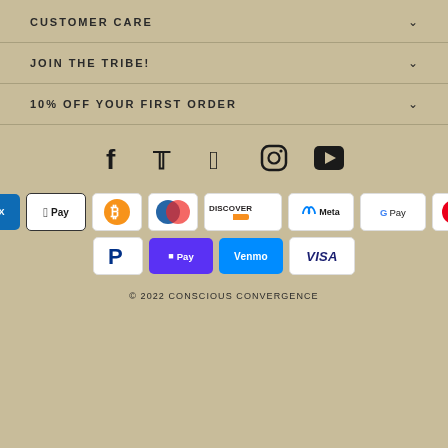CUSTOMER CARE
JOIN THE TRIBE!
10% OFF YOUR FIRST ORDER
[Figure (infographic): Social media icons: Facebook, Twitter, Pinterest, Instagram, YouTube]
[Figure (infographic): Payment method logos: Amex, Apple Pay, Bitcoin, Diners Club, Discover, Meta Pay, Google Pay, Mastercard, PayPal, ShopPay, Venmo, Visa]
© 2022 CONSCIOUS CONVERGENCE